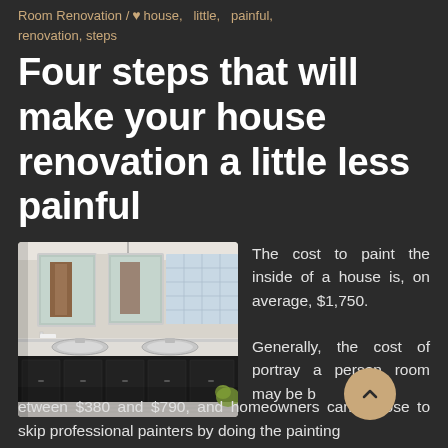Room Renovation / ♥ house, little, painful, renovation, steps
Four steps that will make your house renovation a little less painful
[Figure (photo): Interior bathroom photo showing double vanity sinks with dark cabinetry, two mirrors, and glass block window]
The cost to paint the inside of a house is, on average, $1,750.
Generally, the cost of portray a person room may be between $380 and $790, and homeowners can choose to skip professional painters by doing the painting